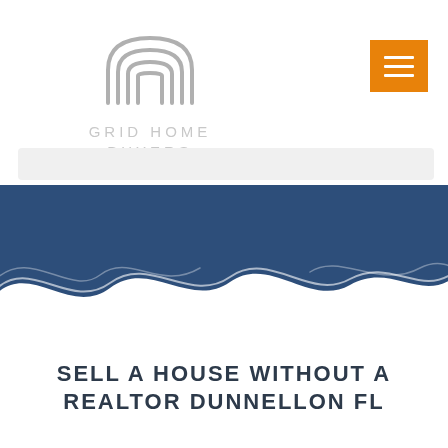[Figure (logo): Grid Home Buyers logo: stylized concentric arch/house outline icon in grey above the text GRID HOME BUYERS in light grey spaced caps]
[Figure (other): Orange square hamburger/menu button with three white horizontal lines]
[Figure (other): Blue wave decorative section divider with white wave shapes at the bottom transitioning to white background]
SELL A HOUSE WITHOUT A REALTOR DUNNELLON FL